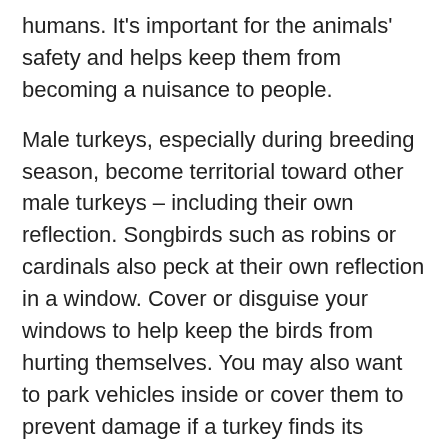humans. It's important for the animals' safety and helps keep them from becoming a nuisance to people.
Male turkeys, especially during breeding season, become territorial toward other male turkeys – including their own reflection. Songbirds such as robins or cardinals also peck at their own reflection in a window. Cover or disguise your windows to help keep the birds from hurting themselves. You may also want to park vehicles inside or cover them to prevent damage if a turkey finds its reflection in the paint or shiny hubcaps.
"If you are in an area where hunting is allowed, you can take advantage of turkey hunting opportunities," said Vaughn. "Hunting plays an important role in managing turkeys by regulating their numbers."